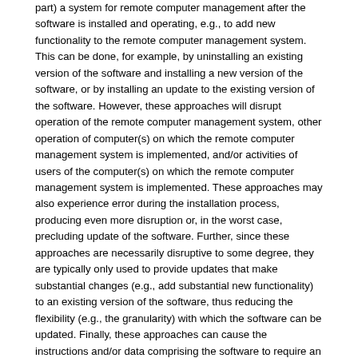part) a system for remote computer management after the software is installed and operating, e.g., to add new functionality to the remote computer management system. This can be done, for example, by uninstalling an existing version of the software and installing a new version of the software, or by installing an update to the existing version of the software. However, these approaches will disrupt operation of the remote computer management system, other operation of computer(s) on which the remote computer management system is implemented, and/or activities of users of the computer(s) on which the remote computer management system is implemented. These approaches may also experience error during the installation process, producing even more disruption or, in the worst case, precluding update of the software. Further, since these approaches are necessarily disruptive to some degree, they are typically only used to provide updates that make substantial changes (e.g., add substantial new functionality) to an existing version of the software, thus reducing the flexibility (e.g., the granularity) with which the software can be updated. Finally, these approaches can cause the instructions and/or data comprising the software to require an undesirably large amount of storage capacity. Another approach to updating software used to implement a remote computer management system is to provide one or more new stand-alone executable files that can be accessed by the remote computer management software to make use of the functionality produced by those executable file(s). However, when the new executable file(s) first attempt to